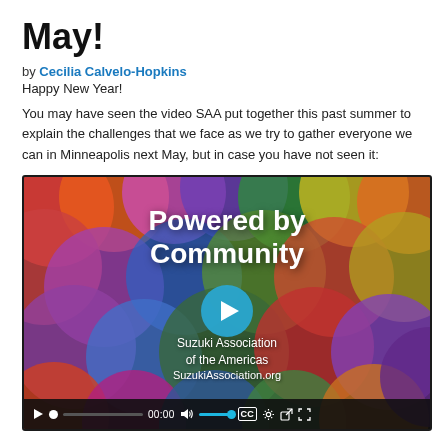May!
by Cecilia Calvelo-Hopkins
Happy New Year!
You may have seen the video SAA put together this past summer to explain the challenges that we face as we try to gather everyone we can in Minneapolis next May, but in case you have not seen it:
[Figure (screenshot): Video player showing 'Powered by Community' title screen for Suzuki Association of the Americas with colorful overlapping circles background. Video controls bar at bottom showing play button, progress bar at 00:00, volume, CC, settings, and fullscreen controls.]